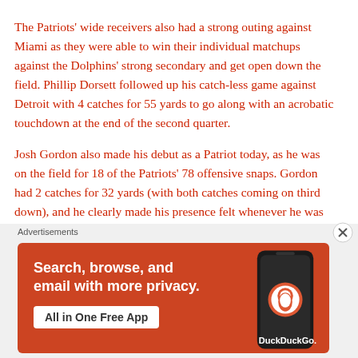The Patriots' wide receivers also had a strong outing against Miami as they were able to win their individual matchups against the Dolphins' strong secondary and get open down the field. Phillip Dorsett followed up his catch-less game against Detroit with 4 catches for 55 yards to go along with an acrobatic touchdown at the end of the second quarter.
Josh Gordon also made his debut as a Patriot today, as he was on the field for 18 of the Patriots' 78 offensive snaps. Gordon had 2 catches for 32 yards (with both catches coming on third down), and he clearly made his presence felt whenever he was on the field. Gordon had
Advertisements
[Figure (screenshot): DuckDuckGo advertisement banner on orange/red background. Text reads: Search, browse, and email with more privacy. All in One Free App. Shows a phone graphic on the right with DuckDuckGo branding.]